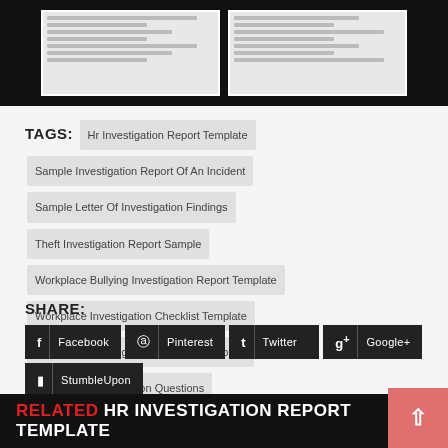[Figure (screenshot): Two document thumbnail previews on a dark background]
TAGS: Hr Investigation Report Template Sample Investigation Report Of An Incident Sample Letter Of Investigation Findings Theft Investigation Report Sample Workplace Bullying Investigation Report Template Workplace Investigation Checklist Template Workplace Investigation Interview Template Workplace Investigation Questions Workplace Investigation Witness Statement Template
SHARE:
Facebook | Pinterest | Twitter | Google+ | StumbleUpon
RELATED HR INVESTIGATION REPORT TEMPLATE